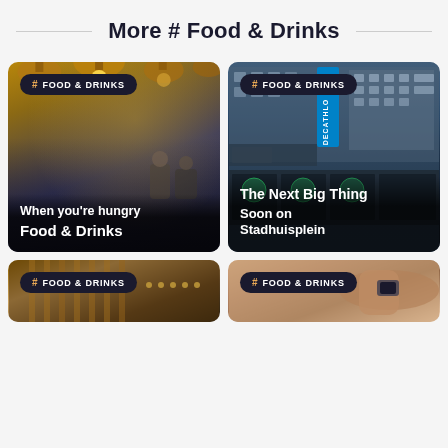More # Food & Drinks
[Figure (photo): Restaurant interior with golden pendant lights and two people at a bar counter. Tag: # FOOD & DRINKS. Text overlay: 'When you're hungry' and 'Food & Drinks']
[Figure (photo): Exterior of a building with Decathlon signage and concert/event posters. Tag: # FOOD & DRINKS. Text overlay: 'The Next Big Thing' and 'Soon on Stadhuisplein']
[Figure (photo): Partial view of interior warm tones. Tag: # FOOD & DRINKS]
[Figure (photo): Partial view of a person. Tag: # FOOD & DRINKS]